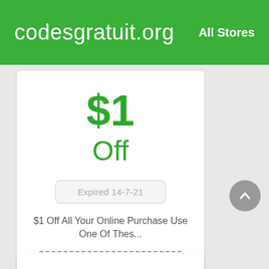codesgratuit.org   All Stores
$1
Off
Expired 14-7-21
$1 Off All Your Online Purchase Use One Of Thes...
Get Deal